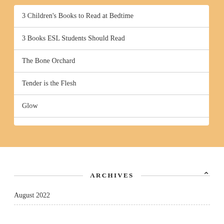3 Children's Books to Read at Bedtime
3 Books ESL Students Should Read
The Bone Orchard
Tender is the Flesh
Glow
ARCHIVES
August 2022